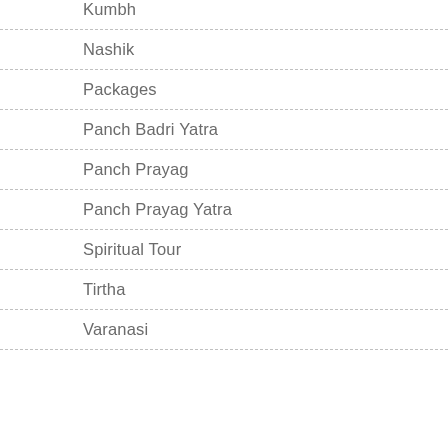Kumbh
Nashik
Packages
Panch Badri Yatra
Panch Prayag
Panch Prayag Yatra
Spiritual Tour
Tirtha
Varanasi